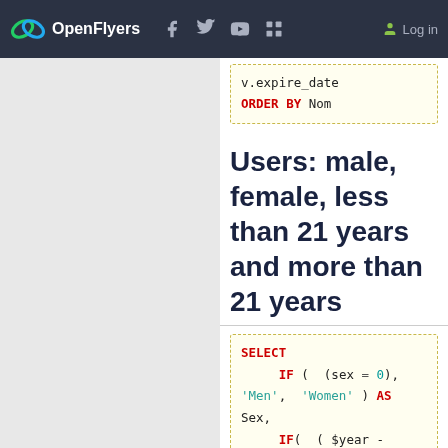OpenFlyers — Log in
v.expire_date
ORDER BY Nom
Users: male, female, less than 21 years and more than 21 years
SELECT
    IF (  (sex = 0),
'Men',  'Women' ) AS Sex,
    IF(  ( $year -
YEAR(  birthdate )
>= 21), 'No',
'Yes') AS Young,
    COUNT( id ) AS Number
FROM person